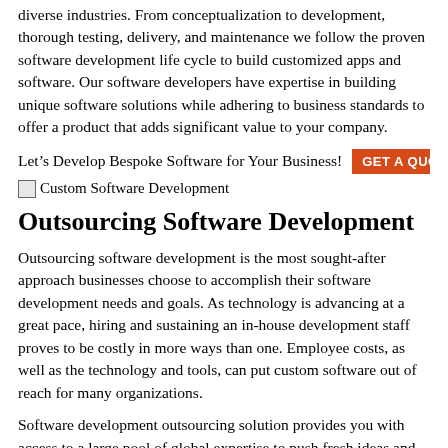diverse industries. From conceptualization to development, thorough testing, delivery, and maintenance we follow the proven software development life cycle to build customized apps and software. Our software developers have expertise in building unique software solutions while adhering to business standards to offer a product that adds significant value to your company.
Let's Develop Bespoke Software for Your Business!
[Figure (illustration): Broken image icon placeholder labeled 'Custom Software Development']
Outsourcing Software Development
Outsourcing software development is the most sought-after approach businesses choose to accomplish their software development needs and goals. As technology is advancing at a great pace, hiring and sustaining an in-house development staff proves to be costly in more ways than one. Employee costs, as well as the technology and tools, can put custom software out of reach for many organizations.
Software development outsourcing solution provides you with access to a large pool of global expertise to push fresh ideas and accomplish your project. Tackle complicated software development challenges by partnering with Inwizards. We are an